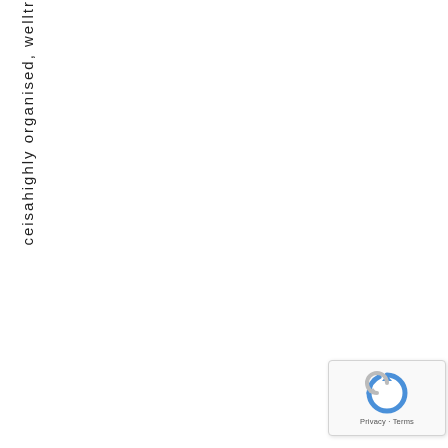ceisahighly organised, welltr
[Figure (other): reCAPTCHA widget with Google logo, showing 'Privacy - Terms' label]